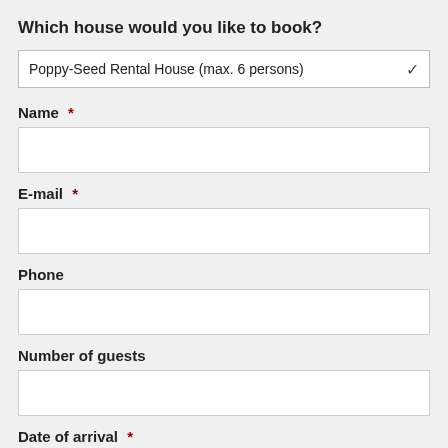Which house would you like to book?
Poppy-Seed Rental House (max. 6 persons)
Name *
E-mail *
Phone
Number of guests
Date of arrival *